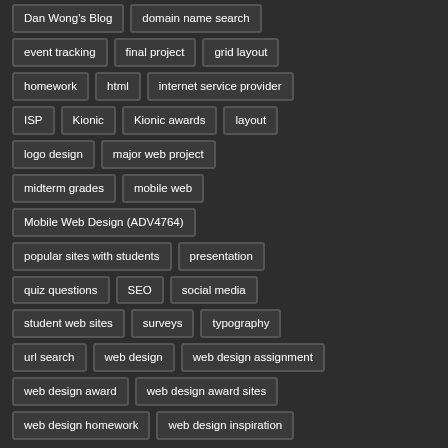Dan Wong's Blog
domain name search
event tracking
final project
grid layout
homework
html
internet service provider
ISP
Kionic
Kionic awards
layout
logo design
major web project
midterm grades
mobile web
Mobile Web Design (ADV4764)
popular sites with students
presentation
quiz questions
SEO
social media
student web sites
surveys
typography
url search
web design
web design assignment
web design award
web design award sites
web design homework
web design inspiration